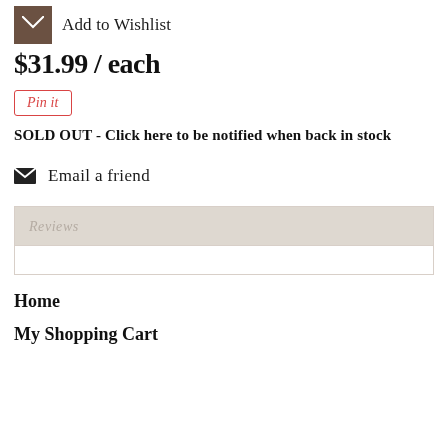[Figure (other): Brown envelope/wishlist icon with Add to Wishlist text]
$31.99 / each
[Figure (other): Pinterest Pin it button with red border and italic text]
SOLD OUT - Click here to be notified when back in stock
Email a friend
Reviews
Home
My Shopping Cart